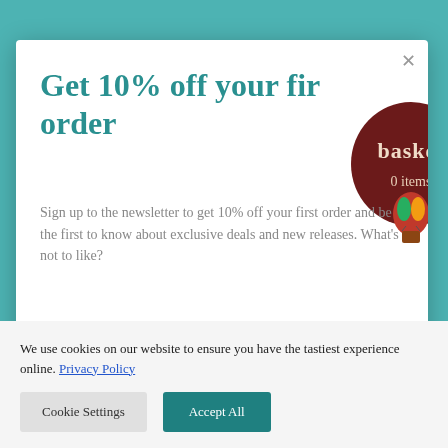Get 10% off your first order
Sign up to the newsletter to get 10% off your first order and be the first to know about exclusive deals and new releases. What's not to like?
[Figure (illustration): Hot air balloon basket icon with dark red/maroon circular badge reading 'basket' and '0 items' below]
Email address
We use cookies on our website to ensure you have the tastiest experience online. Privacy Policy
Cookie Settings
Accept All